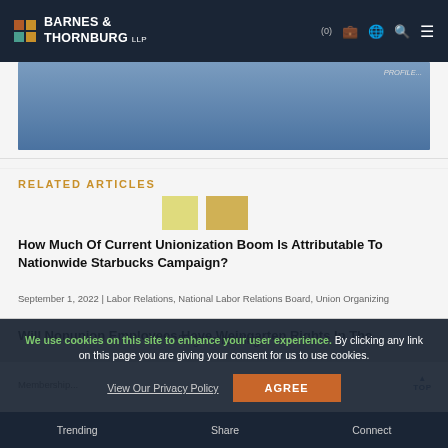Barnes & Thornburg LLP - (0)
[Figure (screenshot): Blue banner image strip from Barnes & Thornburg website]
RELATED ARTICLES
How Much Of Current Unionization Boom Is Attributable To Nationwide Starbucks Campaign?
September 1, 2022 | Labor Relations, National Labor Relations Board, Union Organizing
Will Nonunion Employees Have Weingarten Rights In The...
We use cookies on this site to enhance your user experience. By clicking any link on this page you are giving your consent for us to use cookies.
Trending | Share | Connect